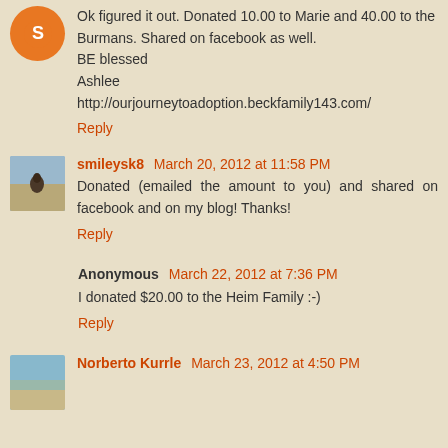Ok figured it out. Donated 10.00 to Marie and 40.00 to the Burmans. Shared on facebook as well.
BE blessed
Ashlee
http://ourjourneytoadoption.beckfamily143.com/
Reply
smileysk8  March 20, 2012 at 11:58 PM
Donated (emailed the amount to you) and shared on facebook and on my blog! Thanks!
Reply
Anonymous  March 22, 2012 at 7:36 PM
I donated $20.00 to the Heim Family :-)
Reply
Norberto Kurrle  March 23, 2012 at 4:50 PM